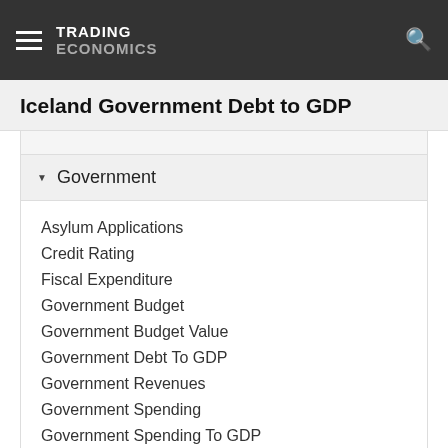TRADING ECONOMICS
Iceland Government Debt to GDP
Government
Asylum Applications
Credit Rating
Fiscal Expenditure
Government Budget
Government Budget Value
Government Debt To GDP
Government Revenues
Government Spending
Government Spending To GDP
Holidays
Business